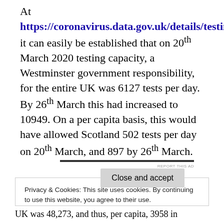At https://coronavirus.data.gov.uk/details/testing it can easily be established that on 20th March 2020 testing capacity, a Westminster government responsibility, for the entire UK was 6127 tests per day. By 26th March this had increased to 10949. On a per capita basis, this would have allowed Scotland 502 tests per day on 20th March, and 897 by 26th March.
Privacy & Cookies: This site uses cookies. By continuing to use this website, you agree to their use. To find out more, including how to control cookies, see here: Cookie Policy
UK was 48,273, and thus, per capita, 3958 in